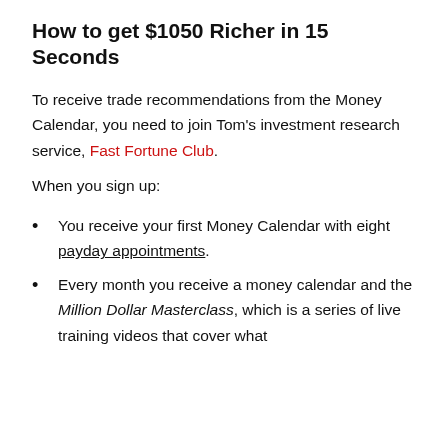How to get $1050 Richer in 15 Seconds
To receive trade recommendations from the Money Calendar, you need to join Tom's investment research service, Fast Fortune Club.
When you sign up:
You receive your first Money Calendar with eight payday appointments.
Every month you receive a money calendar and the Million Dollar Masterclass, which is a series of live training videos that cover what